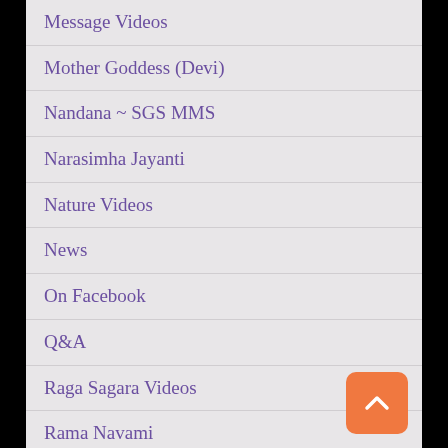Message Videos
Mother Goddess (Devi)
Nandana ~ SGS MMS
Narasimha Jayanti
Nature Videos
News
On Facebook
Q&A
Raga Sagara Videos
Rama Navami
Ratha Saptami
Sankranti